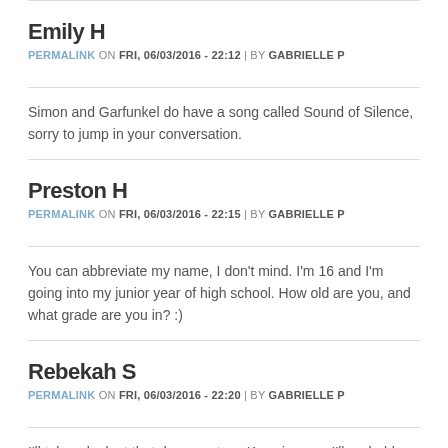Emily H
PERMALINK ON FRI, 06/03/2016 - 22:12 | BY GABRIELLE P
Simon and Garfunkel do have a song called Sound of Silence, sorry to jump in your conversation.
Preston H
PERMALINK ON FRI, 06/03/2016 - 22:15 | BY GABRIELLE P
You can abbreviate my name, I don't mind. I'm 16 and I'm going into my junior year of high school. How old are you, and what grade are you in? :)
Rebekah S
PERMALINK ON FRI, 06/03/2016 - 22:20 | BY GABRIELLE P
I'll take a look at that documentary. Knowing me, I'll probably cry. :)